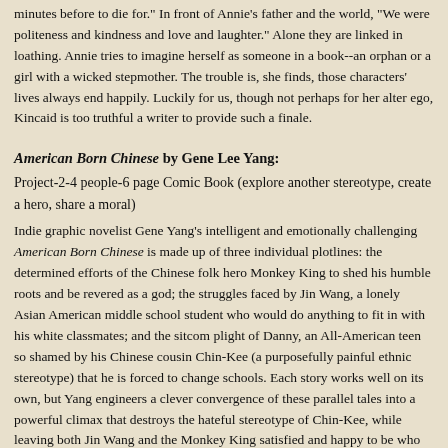family and allow betrayal. The pattern is set, and extended: And now I faced a new series of betrayals of people and things I would have sworn only minutes before to die for." In front of Annie's father and the world, "We were politeness and kindness and love and laughter." Alone they are linked in loathing. Annie tries to imagine herself as someone in a book--an orphan or a girl with a wicked stepmother. The trouble is, she finds, those characters' lives always end happily. Luckily for us, though not perhaps for her alter ego, Kincaid is too truthful a writer to provide such a finale.
American Born Chinese by Gene Lee Yang:
Project-2-4 people-6 page Comic Book (explore another stereotype, create a hero, share a moral)
Indie graphic novelist Gene Yang's intelligent and emotionally challenging American Born Chinese is made up of three individual plotlines: the determined efforts of the Chinese folk hero Monkey King to shed his humble roots and be revered as a god; the struggles faced by Jin Wang, a lonely Asian American middle school student who would do anything to fit in with his white classmates; and the sitcom plight of Danny, an All-American teen so shamed by his Chinese cousin Chin-Kee (a purposefully painful ethnic stereotype) that he is forced to change schools. Each story works well on its own, but Yang engineers a clever convergence of these parallel tales into a powerful climax that destroys the hateful stereotype of Chin-Kee, while leaving both Jin Wang and the Monkey King satisfied and happy to be who they are. Yang skillfully weaves these affecting, often humorous stories together to create a masterful commentary about coming identity and self-acceptance that has earned him a number of accolades for the